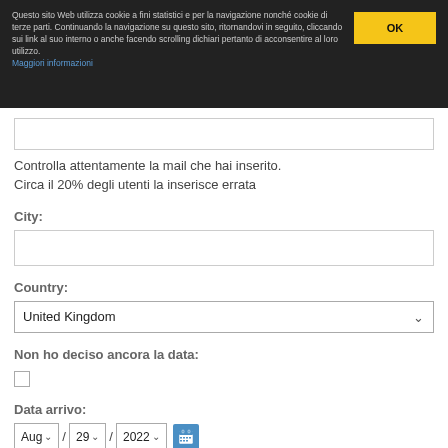Questo sito Web utilizza cookie a fini statistici e per la navigazione nonché cookie di terze parti. Continuando la navigazione su questo sito, ritornandovi in seguito, cliccando sui link al suo interno o anche facendo scrolling dichiari pertanto di acconsentire al loro utilizzo. Maggiori informazioni
OK
Controlla attentamente la mail che hai inserito. Circa il 20% degli utenti la inserisce errata
City:
Country:
United Kingdom
Non ho deciso ancora la data:
Data arrivo:
Aug / 29 / 2022